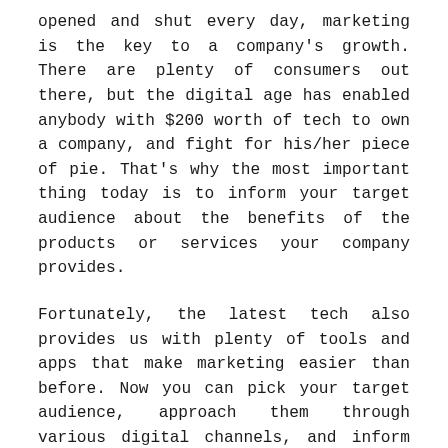opened and shut every day, marketing is the key to a company's growth. There are plenty of consumers out there, but the digital age has enabled anybody with $200 worth of tech to own a company, and fight for his/her piece of pie. That's why the most important thing today is to inform your target audience about the benefits of the products or services your company provides.
Fortunately, the latest tech also provides us with plenty of tools and apps that make marketing easier than before. Now you can pick your target audience, approach them through various digital channels, and inform them about your company's offer. All this is much less expensive than a decade ago, when short commercials on prime-time TV were paid millions of dollars. Today, with a few thousand dollars, you can finance an elaborate social network campaign, and